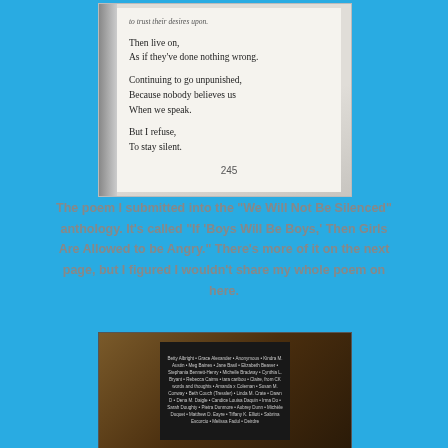[Figure (photo): A photograph of an open book page showing lines of a poem. The visible text reads: 'to trust their desires upon.' then 'Then live on, / As if they've done nothing wrong.' then 'Continuing to go unpunished, / Because nobody believes us / When we speak.' then 'But I refuse, / To stay silent.' with page number 245 at the bottom.]
The poem I submitted into the "We Will Not Be Silenced" anthology. It's called "If 'Boys Will Be Boys,' Then Girls Are Allowed to be Angry." There's more of it on the next page, but I figured I wouldn't share my whole poem on here.
[Figure (photo): A photograph of the back cover of a dark book lying on a wooden surface. The cover lists contributor names in white text: Betty Albright, Grace Alexander, Anonymous, Kindra M. Austin, Meg Baines, Jane Basil, Elizabeth Beaver, Stephania Bennett-Henry, Michelle Bradway, Cynthia L. Bryant, Rebecca Cairns, tara caribou, Claire from CK words and thoughts, Amanda x Coleman, Susan M. Conway, Beth Couch (Tressler), Linda M. Crate, Dawn D., Dena M. Daigle, Candice Louisa Daquin, Irma Do, Sarah Doughty, Pietra Dunmore, Aubrey Dunn, Michèle Duquet, Matthew D. Eayre, Tiffany K. Elliott, Sabrina Escorcio, Melissa Fadul, Deirdre...]